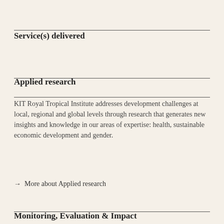Service(s) delivered
Applied research
KIT Royal Tropical Institute addresses development challenges at local, regional and global levels through research that generates new insights and knowledge in our areas of expertise: health, sustainable economic development and gender.
→  More about Applied research
Monitoring, Evaluation & Impact